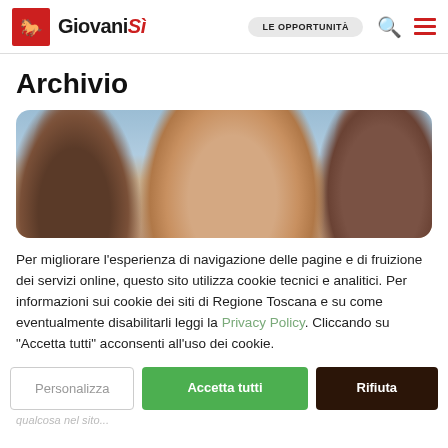Giovanisì — LE OPPORTUNITÀ
Archivio
[Figure (photo): Three young people smiling and looking downward together, close-up portrait photo]
Per migliorare l'esperienza di navigazione delle pagine e di fruizione dei servizi online, questo sito utilizza cookie tecnici e analitici. Per informazioni sui cookie dei siti di Regione Toscana e su come eventualmente disabilitarli leggi la Privacy Policy. Cliccando su "Accetta tutti" acconsenti all'uso dei cookie.
Personalizza | Accetta tutti | Rifiuta